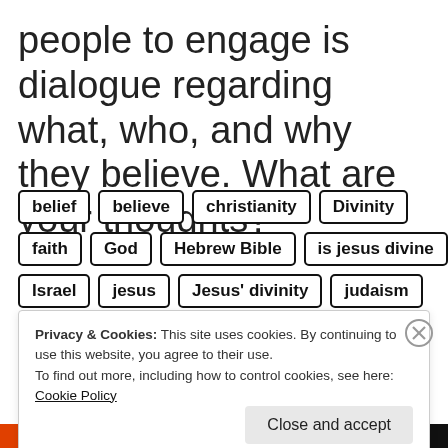people to engage is dialogue regarding what, who, and why they believe. What are your thoughts?
belief
believe
christianity
Divinity
faith
God
Hebrew Bible
is jesus divine
Israel
jesus
Jesus' divinity
judaism
Privacy & Cookies: This site uses cookies. By continuing to use this website, you agree to their use.
To find out more, including how to control cookies, see here: Cookie Policy
Close and accept